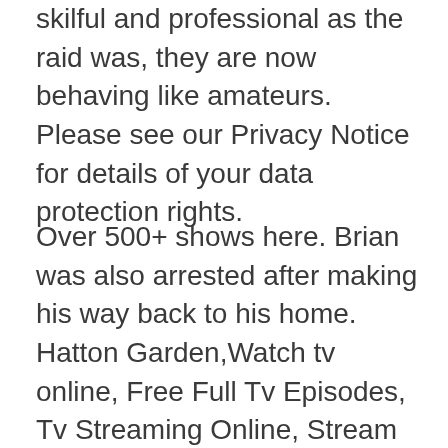skilful and professional as the raid was, they are now behaving like amateurs. Please see our Privacy Notice for details of your data protection rights.
Over 500+ shows here. Brian was also arrested after making his way back to his home. Hatton Garden,Watch tv online, Free Full Tv Episodes, Tv Streaming Online, Stream episodes of Game of Thrones,The Big Bang Theory,The Vampire Diaries,The Walking Dead and many more hit shows. Hatton Garden depicts the audacious jewellery, gold and cash burglary at the heart of London's